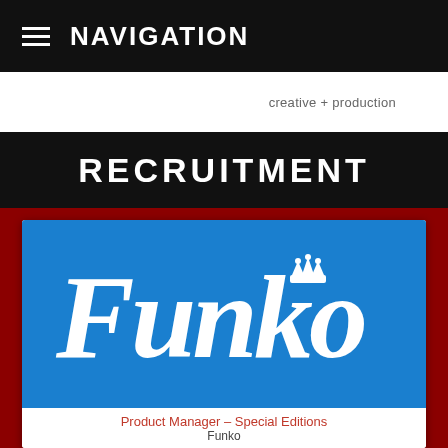≡  NAVIGATION
creative + production
RECRUITMENT
[Figure (logo): Funko logo: white cursive Funko wordmark with a crown above the letter k on a bright blue background]
Product Manager – Special Editions
Funko